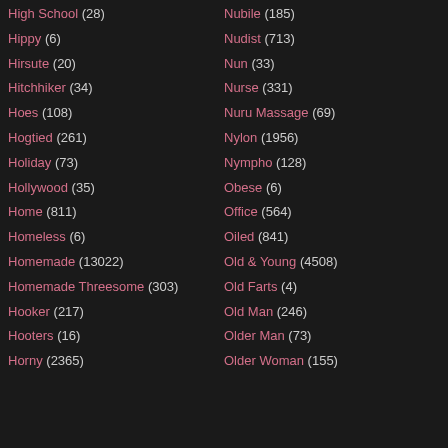High School (28)
Hippy (6)
Hirsute (20)
Hitchhiker (34)
Hoes (108)
Hogtied (261)
Holiday (73)
Hollywood (35)
Home (811)
Homeless (6)
Homemade (13022)
Homemade Threesome (303)
Hooker (217)
Hooters (16)
Horny (2365)
Nubile (185)
Nudist (713)
Nun (33)
Nurse (331)
Nuru Massage (69)
Nylon (1956)
Nympho (128)
Obese (6)
Office (564)
Oiled (841)
Old & Young (4508)
Old Farts (4)
Old Man (246)
Older Man (73)
Older Woman (155)